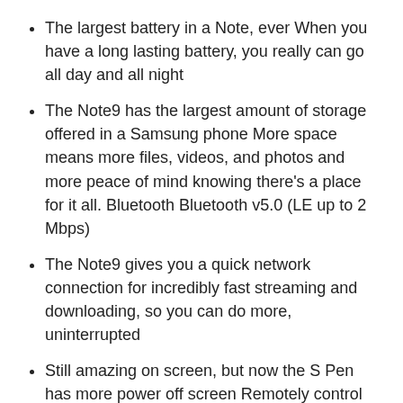The largest battery in a Note, ever When you have a long lasting battery, you really can go all day and all night
The Note9 has the largest amount of storage offered in a Samsung phone More space means more files, videos, and photos and more peace of mind knowing there's a place for it all. Bluetooth Bluetooth v5.0 (LE up to 2 Mbps)
The Note9 gives you a quick network connection for incredibly fast streaming and downloading, so you can do more, uninterrupted
Still amazing on screen, but now the S Pen has more power off screen Remotely control different applications and use the S pen to capture shots from far away, scroll, and play music